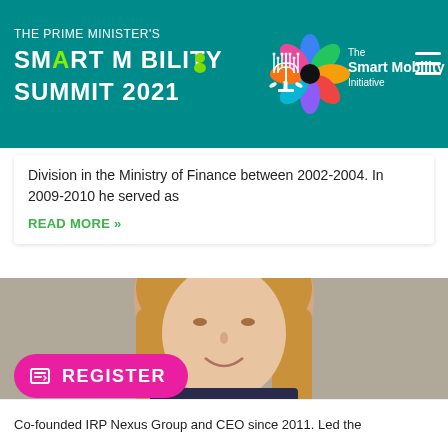[Figure (logo): The Prime Minister's Smart Mobility Summit 2021 header banner with colorful flower/pinwheel logo, Smart Mobility Initiative text, Israeli state emblem (menorah), and hamburger menu icon on teal background]
Division in the Ministry of Finance between 2002-2004. In 2009-2010 he served as
READ MORE »
[Figure (photo): Head-and-shoulders portrait photo of a smiling woman with long blonde hair wearing a dark jacket]
REGISTER
Co-founded IRP Nexus Group and CEO since 2011. Led the